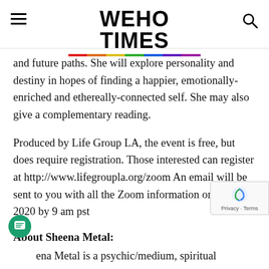WEHO TIMES
and future paths. She will explore personality and destiny in hopes of finding a happier, emotionally-enriched and ethereally-connected self. She may also give a complementary reading.
Produced by Life Group LA, the event is free, but does require registration. Those interested can register at http://www.lifegroupla.org/zoom An email will be sent to you with all the Zoom information on Oct 30, 2020 by 9 am pst
About Sheena Metal:
Sheena Metal is a psychic/medium, spiritual counselor, intuitive and emotional empath, who